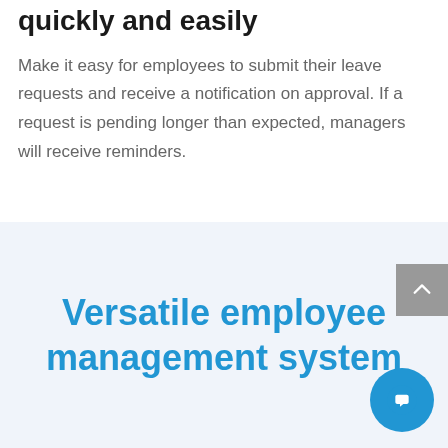quickly and easily
Make it easy for employees to submit their leave requests and receive a notification on approval. If a request is pending longer than expected, managers will receive reminders.
Versatile employee management system